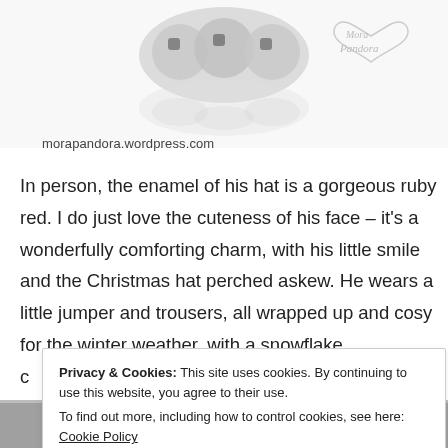[Figure (photo): Silver Pandora charm (teddy bear/elf figure) on white background with reflection, partially visible at top of page]
[Figure (logo): Mora Pandora logo – cursive text inside a heart outline, light grey]
morapandora.wordpress.com
In person, the enamel of his hat is a gorgeous ruby red. I do just love the cuteness of his face – it's a wonderfully comforting charm, with his little smile and the Christmas hat perched askew. He wears a little jumper and trousers, all wrapped up and cosy for the winter weather, with a snowflake c
Privacy & Cookies: This site uses cookies. By continuing to use this website, you agree to their use.
To find out more, including how to control cookies, see here: Cookie Policy
Close and accept
[Figure (photo): Partial photo strip at bottom showing what appears to be a red hat, partially cut off]